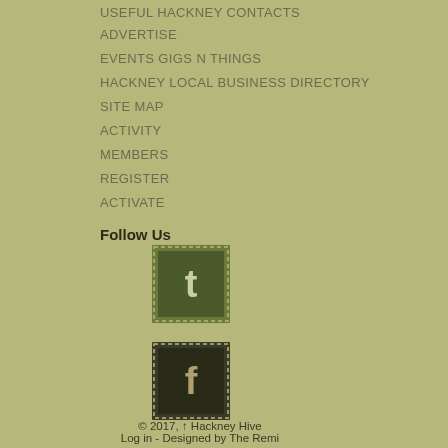USEFUL HACKNEY CONTACTS
ADVERTISE
EVENTS GIGS N THINGS
HACKNEY LOCAL BUSINESS DIRECTORY
SITE MAP
ACTIVITY
MEMBERS
REGISTER
ACTIVATE
Follow Us
[Figure (logo): Twitter stamp-style icon with letter t on dark green background with decorative perforated border]
[Figure (logo): Facebook stamp-style icon with letter f on dark background with decorative perforated border]
© 2017, ↑ Hackney Hive
Log in - Designed by The Remi